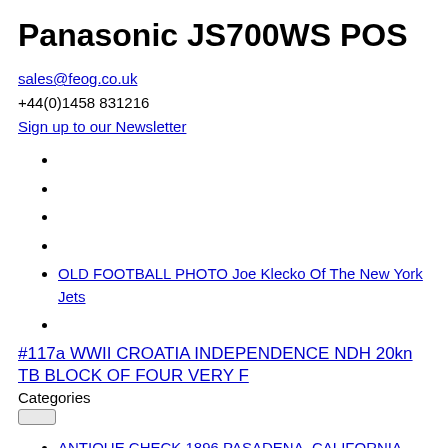Panasonic JS700WS POS
sales@feog.co.uk
+44(0)1458 831216
Sign up to our Newsletter
OLD FOOTBALL PHOTO Joe Klecko Of The New York Jets
#117a WWII CROATIA INDEPENDENCE NDH 20kn TB BLOCK OF FOUR VERY F
Categories
ANTIQUE CHECK 1896 PASADENA, CALIFORNIA